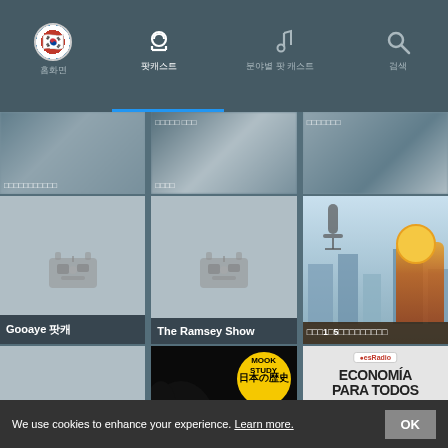홈화면 | 팟캐스트 | 분야별 팟 캐스트 | 검색
[Figure (screenshot): Grid of podcast thumbnails. Row 1 partial: three blurred podcast covers with Korean text labels. Row 2: Gooaye 팟캐 (radio icon placeholder), The Ramsey Show (radio icon placeholder), 매일1분5초비즈니스영어 (anime-style illustration). Row 3: 뉴스룸Round Up ... (radio icon), MOOKSTUDY일본의... (Japanese history book cover), Economía Para ... (esRadio Economia Para Todos cover).]
We use cookies to enhance your experience. Learn more.
OK